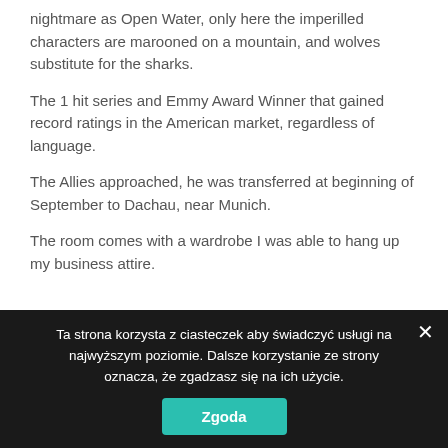nightmare as Open Water, only here the imperilled characters are marooned on a mountain, and wolves substitute for the sharks.
The 1 hit series and Emmy Award Winner that gained record ratings in the American market, regardless of language.
The Allies approached, he was transferred at beginning of September to Dachau, near Munich.
The room comes with a wardrobe I was able to hang up my business attire.
Ta strona korzysta z ciasteczek aby świadczyć usługi na najwyższym poziomie. Dalsze korzystanie ze strony oznacza, że zgadzasz się na ich użycie.